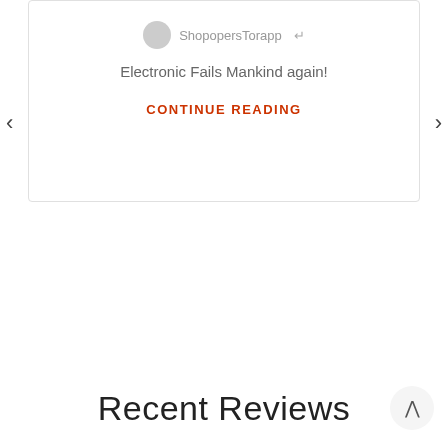Electronic Fails Mankind again!
CONTINUE READING
Recent Reviews